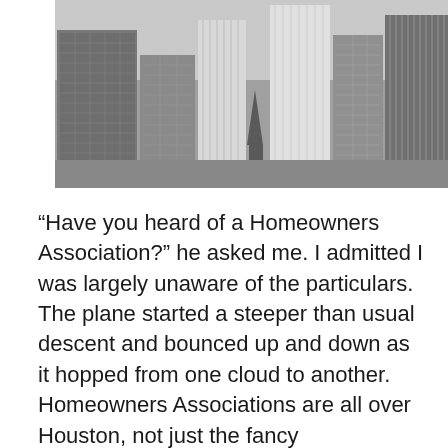[Figure (photo): Black and white photograph of a city skyline with multiple tall skyscrapers against a grey sky.]
“Have you heard of a Homeowners Association?” he asked me. I admitted I was largely unaware of the particulars. The plane started a steeper than usual descent and bounced up and down as it hopped from one cloud to another. Homeowners Associations are all over Houston, not just the fancy communities with gates, he told me. These people